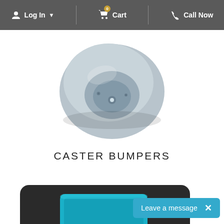Log In  Cart  Call Now
[Figure (photo): Top-view photo of a round grey rubber caster bumper with a donut-like shape and central mounting hole]
CASTER BUMPERS
[Figure (photo): Close-up photo of a dark square product with a teal/cyan inset square recess, partially visible]
Leave a message  ×